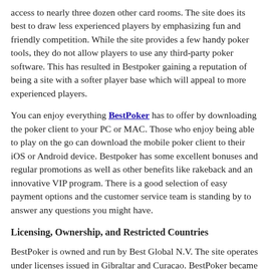access to nearly three dozen other card rooms. The site does its best to draw less experienced players by emphasizing fun and friendly competition. While the site provides a few handy poker tools, they do not allow players to use any third-party poker software. This has resulted in Bestpoker gaining a reputation of being a site with a softer player base which will appeal to more experienced players.
You can enjoy everything BestPoker has to offer by downloading the poker client to your PC or MAC. Those who enjoy being able to play on the go can download the mobile poker client to their iOS or Android device. Bestpoker has some excellent bonuses and regular promotions as well as other benefits like rakeback and an innovative VIP program. There is a good selection of easy payment options and the customer service team is standing by to answer any questions you might have.
Licensing, Ownership, and Restricted Countries
BestPoker is owned and run by Best Global N.V. The site operates under licenses issued in Gibraltar and Curacao. BestPoker became a part of the GG Poker Network in 2016. While this poker site is widely regarded as Asian- facing, players from Singapore, Philippines, and a few other Asian countries are not permitted to play at BestPoker. The same goes for residents of Canada,